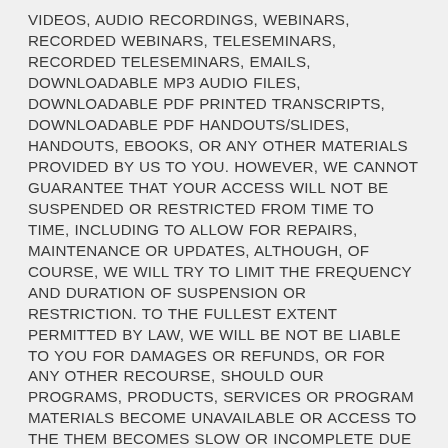VIDEOS, AUDIO RECORDINGS, WEBINARS, RECORDED WEBINARS, TELESEMINARS, RECORDED TELESEMINARS, EMAILS, DOWNLOADABLE MP3 AUDIO FILES, DOWNLOADABLE PDF PRINTED TRANSCRIPTS, DOWNLOADABLE PDF HANDOUTS/SLIDES, HANDOUTS, EBOOKS, OR ANY OTHER MATERIALS PROVIDED BY US TO YOU. HOWEVER, WE CANNOT GUARANTEE THAT YOUR ACCESS WILL NOT BE SUSPENDED OR RESTRICTED FROM TIME TO TIME, INCLUDING TO ALLOW FOR REPAIRS, MAINTENANCE OR UPDATES, ALTHOUGH, OF COURSE, WE WILL TRY TO LIMIT THE FREQUENCY AND DURATION OF SUSPENSION OR RESTRICTION. TO THE FULLEST EXTENT PERMITTED BY LAW, WE WILL BE NOT BE LIABLE TO YOU FOR DAMAGES OR REFUNDS, OR FOR ANY OTHER RECOURSE, SHOULD OUR PROGRAMS, PRODUCTS, SERVICES OR PROGRAM MATERIALS BECOME UNAVAILABLE OR ACCESS TO THE THEM BECOMES SLOW OR INCOMPLETE DUE TO ANY REASON, SUCH AS SYSTEM BACK-UP PROCEDURES, INTERNET TRAFFIC VOLUME, UPGRADES, OVERLOAD OF REQUESTS TO THE SERVERS, GENERAL NETWORK FAILURES OR DELAYS, OR ANY OTHER CAUSE